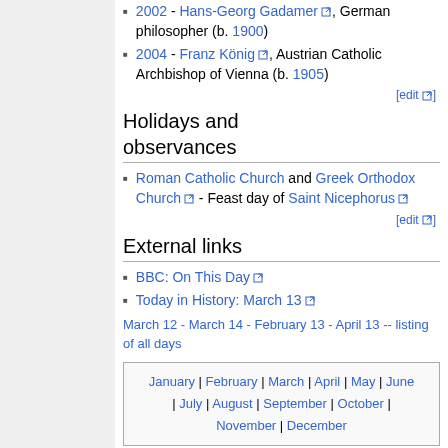2002 - Hans-Georg Gadamer, German philosopher (b. 1900)
2004 - Franz König, Austrian Catholic Archbishop of Vienna (b. 1905)
Holidays and observances
Roman Catholic Church and Greek Orthodox Church - Feast day of Saint Nicephorus
External links
BBC: On This Day
Today in History: March 13
March 12 - March 14 - February 13 - April 13 -- listing of all days
| January | February | March | April | May | June | July | August | September | October | November | December |